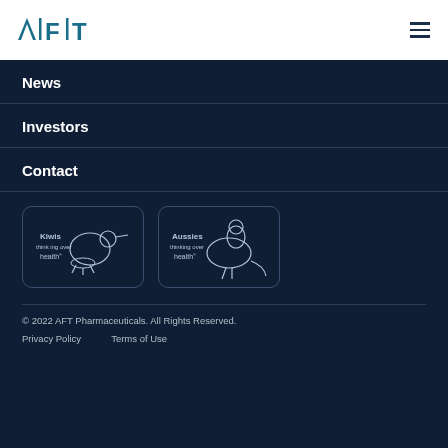AFT logo and navigation hamburger menu
News
Investors
Contact
[Figure (logo): Kiwis thinking over health logo - white kiwi bird illustration with text 'Kiwis thinking over health']
[Figure (logo): Aussies thinking over health logo - white kangaroo illustration with text 'Aussies thinking over health']
© 2022 AFT Pharmaceuticals. All Rights Reserved.
Privacy Policy    Terms of Use